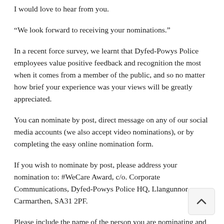I would love to hear from you.
“We look forward to receiving your nominations.”
In a recent force survey, we learnt that Dyfed-Powys Police employees value positive feedback and recognition the most when it comes from a member of the public, and so no matter how brief your experience was your views will be greatly appreciated.
You can nominate by post, direct message on any of our social media accounts (we also accept video nominations), or by completing the easy online nomination form.
If you wish to nominate by post, please address your nomination to: #WeCare Award, c/o. Corporate Communications, Dyfed-Powys Police HQ, Llangunnor, Carmarthen, SA31 2PF.
Please include the name of the person you are nominating and reasons why (in as much detail as possible), as well as your name and contact number. The closing date is Wednesday, 13 October